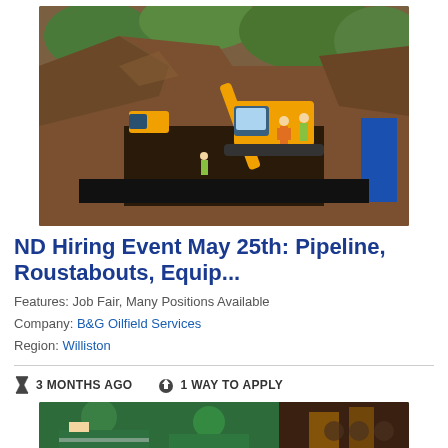[Figure (photo): Construction site showing a large yellow CAT excavator digging a trench for pipeline installation. Workers in safety vests visible, blue pipeline sections on the right, dirt mounds and green trees in background.]
ND Hiring Event May 25th: Pipeline, Roustabouts, Equip...
Features: Job Fair, Many Positions Available
Company: B&G Oilfield Services
Region: Williston
3 MONTHS AGO   1 WAY TO APPLY
[Figure (photo): Close-up of workers in green safety uniforms/coveralls at an industrial site.]